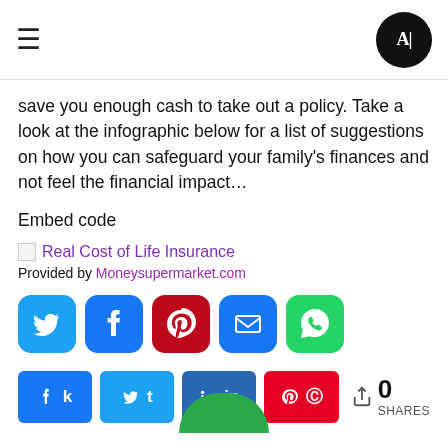≡ [AT logo]
save you enough cash to take out a policy. Take a look at the infographic below for a list of suggestions on how you can safeguard your family's finances and not feel the financial impact…
Embed code
[Figure (infographic): Broken image thumbnail linking to 'Real Cost of Life Insurance' infographic]
Provided by Moneysupermarket.com
[Figure (infographic): Social share icons: Twitter, Facebook, Pinterest, Email, WhatsApp]
[Figure (infographic): Share buttons row: k (Facebook), t (Twitter), in (LinkedIn), p (Pinterest), share count 0 SHARES]